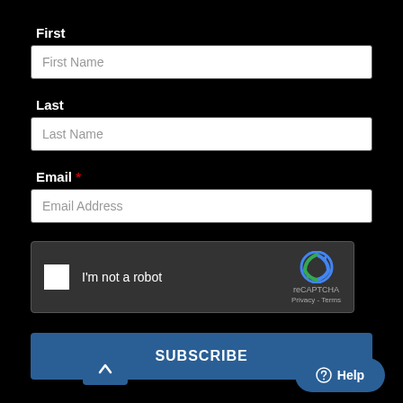First
First Name
Last
Last Name
Email *
Email Address
[Figure (other): reCAPTCHA widget with checkbox labeled I'm not a robot, reCAPTCHA logo, Privacy and Terms links]
SUBSCRIBE
[Figure (other): Scroll to top button with upward arrow icon]
Help